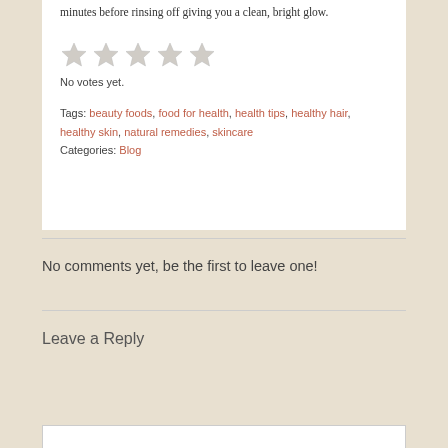minutes before rinsing off giving you a clean, bright glow.
[Figure (other): Five empty/unfilled star rating icons in a row]
No votes yet.
Tags: beauty foods, food for health, health tips, healthy hair, healthy skin, natural remedies, skincare
Categories: Blog
No comments yet, be the first to leave one!
Leave a Reply